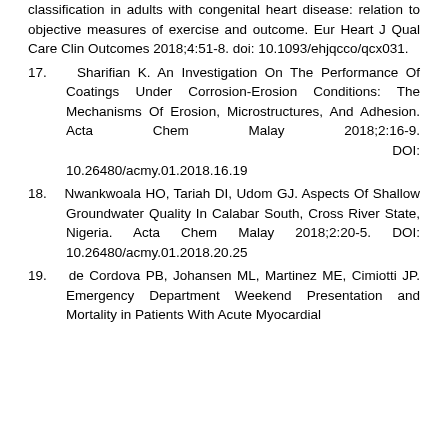classification in adults with congenital heart disease: relation to objective measures of exercise and outcome. Eur Heart J Qual Care Clin Outcomes 2018;4:51-8. doi: 10.1093/ehjqcco/qcx031.
17. Sharifian K. An Investigation On The Performance Of Coatings Under Corrosion-Erosion Conditions: The Mechanisms Of Erosion, Microstructures, And Adhesion. Acta Chem Malay 2018;2:16-9. DOI: 10.26480/acmy.01.2018.16.19
18. Nwankwoala HO, Tariah DI, Udom GJ. Aspects Of Shallow Groundwater Quality In Calabar South, Cross River State, Nigeria. Acta Chem Malay 2018;2:20-5. DOI: 10.26480/acmy.01.2018.20.25
19. de Cordova PB, Johansen ML, Martinez ME, Cimiotti JP. Emergency Department Weekend Presentation and Mortality in Patients With Acute Myocardial